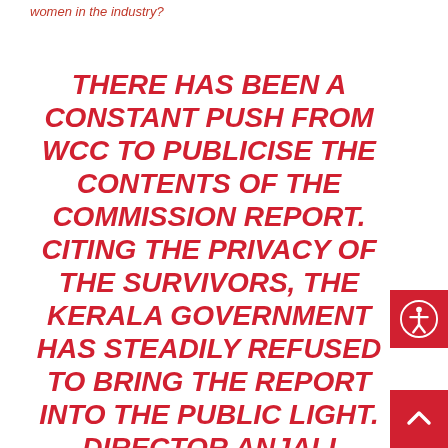women in the industry?
THERE HAS BEEN A CONSTANT PUSH FROM WCC TO PUBLICISE THE CONTENTS OF THE COMMISSION REPORT. CITING THE PRIVACY OF THE SURVIVORS, THE KERALA GOVERNMENT HAS STEADILY REFUSED TO BRING THE REPORT INTO THE PUBLIC LIGHT. DIRECTOR ANJALI MENON POINTS OUT THAT, SINCE THE COMMISSION HAD ASSURED THEM ANONYMITY, IS A WASTED EFFORT FOR EACH